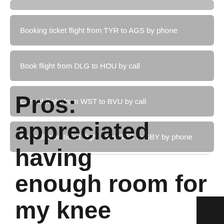Booking ticket flight from TYR to AGS by phone
Book flight from DLG to HOU by call
Cancel flight from WST to BVU by call
Cancellation ticket flight from GRB to SBY by phone
Pros: appreciated having enough room for my knee